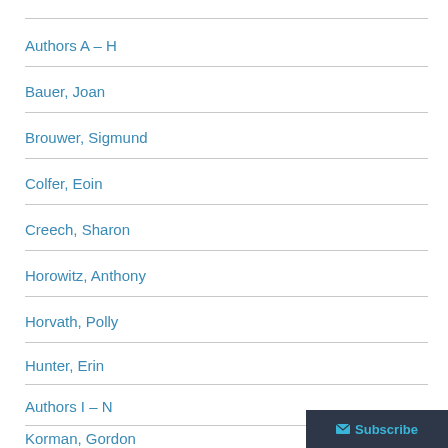Authors A – H
Bauer, Joan
Brouwer, Sigmund
Colfer, Eoin
Creech, Sharon
Horowitz, Anthony
Horvath, Polly
Hunter, Erin
Authors I – N
Korman, Gordon
Lasky, Kathryn